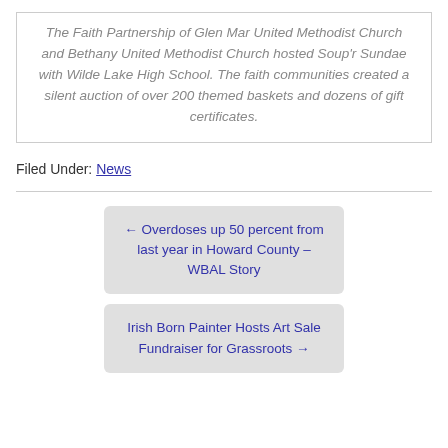The Faith Partnership of Glen Mar United Methodist Church and Bethany United Methodist Church hosted Soup'r Sundae with Wilde Lake High School. The faith communities created a silent auction of over 200 themed baskets and dozens of gift certificates.
Filed Under: News
← Overdoses up 50 percent from last year in Howard County – WBAL Story
Irish Born Painter Hosts Art Sale Fundraiser for Grassroots →